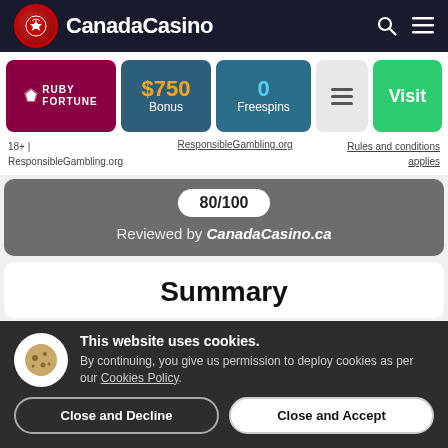CanadaCasino
[Figure (infographic): Ruby Fortune casino card showing $750 Bonus, 0 Freespins, menu icon, and Visit button]
18+ | ResponsibleGambling.org   ResponsibleGambling.org   Rules and conditions applies
80/100
Reviewed by CanadaCasino.ca
Summary
This website uses cookies. By continuing, you give us permission to deploy cookies as per our Cookies Policy.